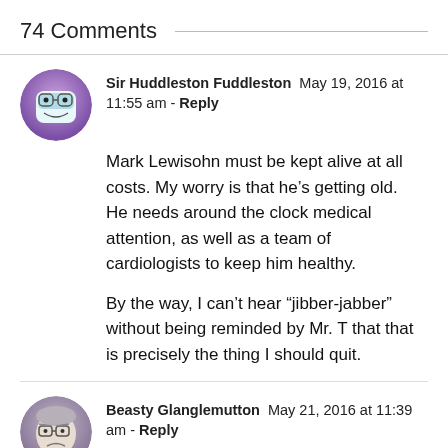74 Comments
Sir Huddleston Fuddleston  May 19, 2016 at 11:55 am - Reply
Mark Lewisohn must be kept alive at all costs. My worry is that he's getting old. He needs around the clock medical attention, as well as a team of cardiologists to keep him healthy.

By the way, I can't hear “jibber-jabber” without being reminded by Mr. T that that is precisely the thing I should quit.
Beasty Glanglemutton  May 21, 2016 at 11:39 am - Reply